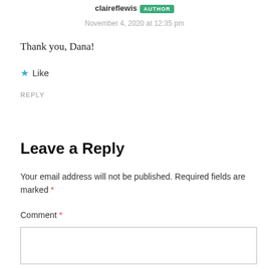claireflewis AUTHOR
November 4, 2020 at 12:35 pm
Thank you, Dana!
★ Like
REPLY
Leave a Reply
Your email address will not be published. Required fields are marked *
Comment *